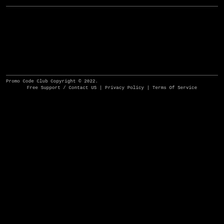Promo Code Club Copyright © 2022.
Free Support / Contact US | Privacy Policy | Terms Of Service